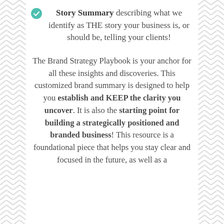Story Summary describing what we identify as THE story your business is, or should be, telling your clients!
The Brand Strategy Playbook is your anchor for all these insights and discoveries. This customized brand summary is designed to help you establish and KEEP the clarity you uncover. It is also the starting point for building a strategically positioned and branded business! This resource is a foundational piece that helps you stay clear and focused in the future, as well as a